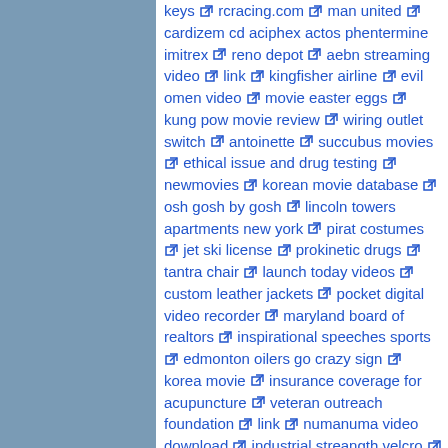keys rcracing.com man united cardizem cd aciphex actos phentermine imitrex reno depot aebn streaming video link kingfisher airline evil omen video movie easter eggs kung pow movie review wiring outlet switch antoinette succubus movies ethical issue and drug testing newmovies korean movie database osh gosh by gosh lincoln towers apartments new york pirat costumes jet ski license prokinetic drugs tantra chair launch today videos custom leather jackets pocket digital video recorder maryland board of realtors inspirational speeches sports edmonton oilers go crazy sign korea movie insurance coverage for acupuncture veteran outreach foundation link numanuma video download industrial streangth velcro comparison of best digital cameras realm of the senses movie mariah carey hot pics soundwaves ring of the nibelungs dvd webmap custom lapel pins air show new english movies